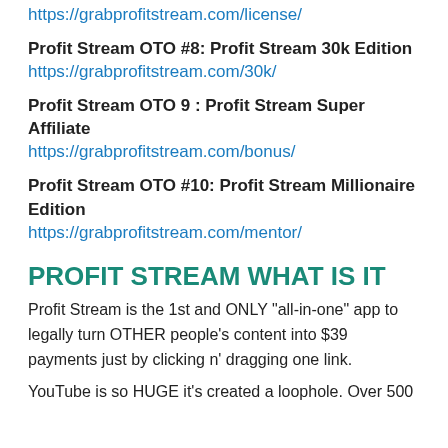https://grabprofitstream.com/license/
Profit Stream OTO #8: Profit Stream 30k Edition
https://grabprofitstream.com/30k/
Profit Stream OTO 9 : Profit Stream Super Affiliate
https://grabprofitstream.com/bonus/
Profit Stream OTO #10: Profit Stream Millionaire Edition
https://grabprofitstream.com/mentor/
PROFIT STREAM WHAT IS IT
Profit Stream is the 1st and ONLY "all-in-one" app to legally turn OTHER people's content into $39 payments just by clicking n' dragging one link.
YouTube is so HUGE it's created a loophole. Over 500